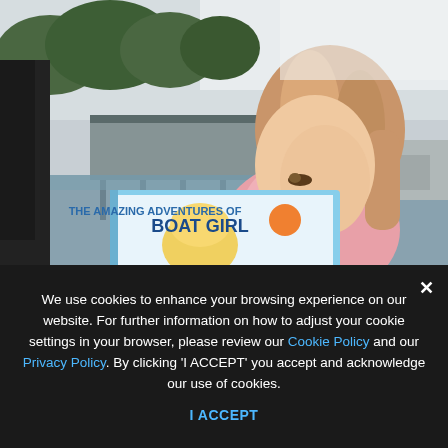[Figure (photo): A young girl with long blonde hair reading a children's book titled 'THE AMAZING ADVENTURES OF BOAT GIRL' on what appears to be a boat at a marina, with trees and dock structures visible in the background.]
We use cookies to enhance your browsing experience on our website. For further information on how to adjust your cookie settings in your browser, please review our Cookie Policy and our Privacy Policy. By clicking 'I ACCEPT' you accept and acknowledge our use of cookies.
I ACCEPT